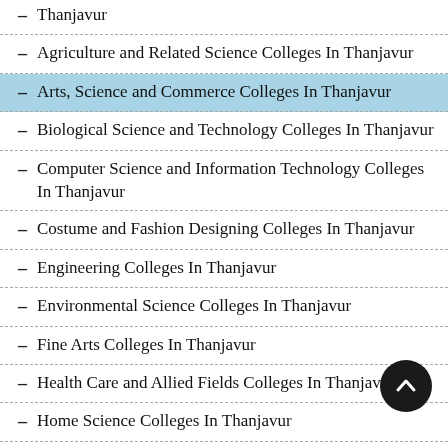Thanjavur
Agriculture and Related Science Colleges In Thanjavur
Arts, Science and Commerce Colleges In Thanjavur
Biological Science and Technology Colleges In Thanjavur
Computer Science and Information Technology Colleges In Thanjavur
Costume and Fashion Designing Colleges In Thanjavur
Engineering Colleges In Thanjavur
Environmental Science Colleges In Thanjavur
Fine Arts Colleges In Thanjavur
Health Care and Allied Fields Colleges In Thanjavur
Home Science Colleges In Thanjavur
Management Colleges In Thanjavur
Maritime/ Merchant Navy Colleges In Thanjavur